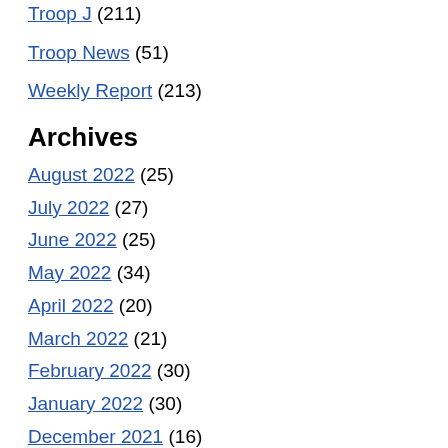Troop J (211)
Troop News (51)
Weekly Report (213)
Archives
August 2022 (25)
July 2022 (27)
June 2022 (25)
May 2022 (34)
April 2022 (20)
March 2022 (21)
February 2022 (30)
January 2022 (30)
December 2021 (16)
November 2021 (35)